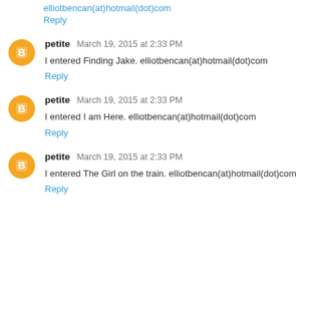elliotbencan(at)hotmail(dot)com
Reply
petite  March 19, 2015 at 2:33 PM
I entered Finding Jake. elliotbencan(at)hotmail(dot)com
Reply
petite  March 19, 2015 at 2:33 PM
I entered I am Here. elliotbencan(at)hotmail(dot)com
Reply
petite  March 19, 2015 at 2:33 PM
I entered The Girl on the train. elliotbencan(at)hotmail(dot)com
Reply